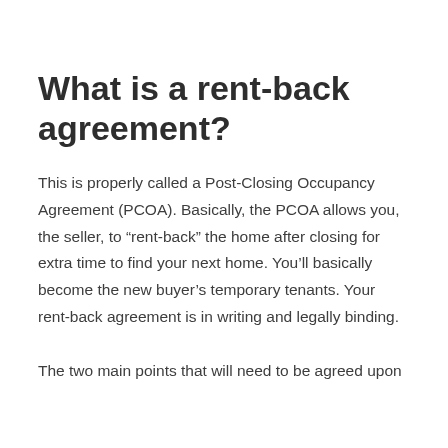What is a rent-back agreement?
This is properly called a Post-Closing Occupancy Agreement (PCOA). Basically, the PCOA allows you, the seller, to “rent-back” the home after closing for extra time to find your next home. You’ll basically become the new buyer’s temporary tenants. Your rent-back agreement is in writing and legally binding.
The two main points that will need to be agreed upon